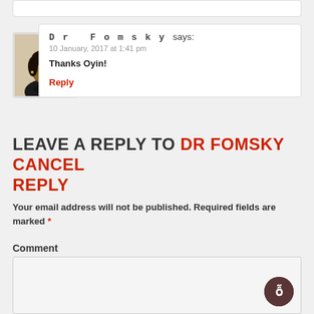[Figure (photo): Avatar photo of Dr Fomsky, a woman with short hair wearing a dark top]
Dr Fomsky says:
10 January, 2017 at 1:41 pm
Thanks Oyin!
Reply
LEAVE A REPLY TO DR FOMSKY CANCEL REPLY
Your email address will not be published. Required fields are marked *
Comment